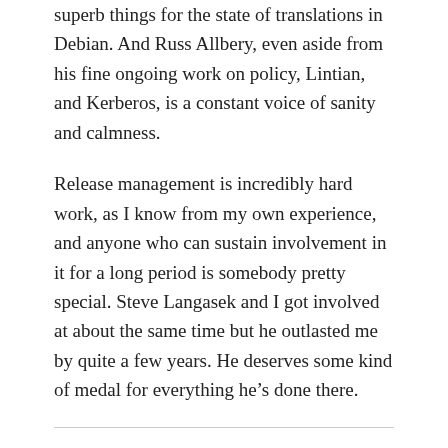superb things for the state of translations in Debian. And Russ Allbery, even aside from his fine ongoing work on policy, Lintian, and Kerberos, is a constant voice of sanity and calmness.
Release management is incredibly hard work, as I know from my own experience, and anyone who can sustain involvement in it for a long period is somebody pretty special. Steve Langasek and I got involved at about the same time but he outlasted me by quite a few years. He deserves some kind of medal for everything he’s done there.
Thank you to Colin for the time spent answering my questions. I hope you enjoyed reading his answers as I did. Subscribe to my newsletter to get my monthly